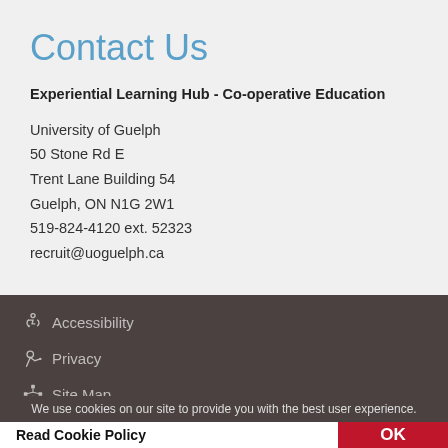Contact Us
Experiential Learning Hub - Co-operative Education
University of Guelph
50 Stone Rd E
Trent Lane Building 54
Guelph, ON N1G 2W1
519-824-4120 ext. 52323
recruit@uoguelph.ca
Accessibility
Privacy
Site Map
We use cookies on our site to provide you with the best user experience.
Read Cookie Policy
OK